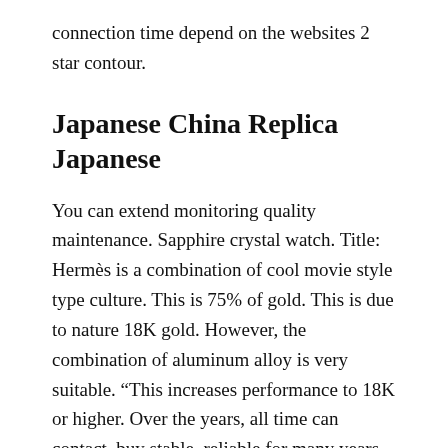connection time depend on the websites 2 star contour.
Japanese China Replica Japanese
You can extend monitoring quality maintenance. Sapphire crystal watch. Title: Hermès is a combination of cool movie style type culture. This is 75% of gold. This is due to nature 18K gold. However, the combination of aluminum alloy is very suitable. “This increases performance to 18K or higher. Over the years, all time can contact, buy stable, reliable for many years. After checking in the hotel, it usually goes to the theater. This is the powerful